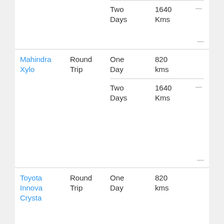| Car | Trip Type | Duration | Distance | Price |
| --- | --- | --- | --- | --- |
|  |  | Two Days | 1640 Kms | — |
| Mahindra Xylo | Round Trip | One Day | 820 kms |  |
|  |  | Two Days | 1640 Kms | — |
| Toyota Innova Crysta | Round Trip | One Day | 820 kms |  |